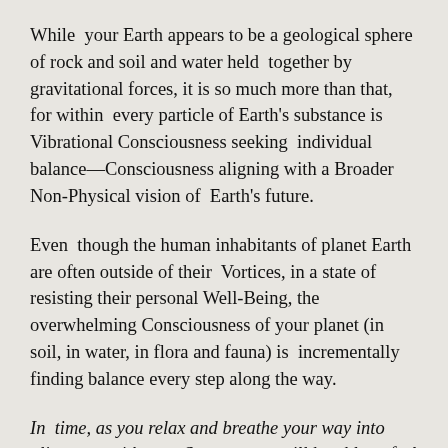While your Earth appears to be a geological sphere of rock and soil and water held together by gravitational forces, it is so much more than that, for within every particle of Earth's substance is Vibrational Consciousness seeking individual balance—Consciousness aligning with a Broader Non-Physical vision of Earth's future.
Even though the human inhabitants of planet Earth are often outside of their Vortices, in a state of resisting their personal Well-Being, the overwhelming Consciousness of your planet (in soil, in water, in flora and fauna) is incrementally finding balance every step along the way.
In time, as you relax and breathe your way into alignment with your Source, you will be able to feel the dominant Vibrational pulse of Well-Being that